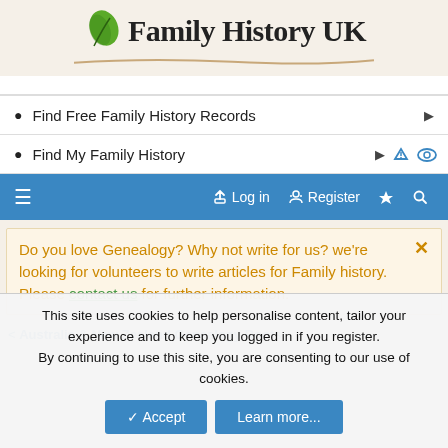[Figure (logo): Family History UK logo with green leaf icon and decorative brown curved underline]
Find Free Family History Records
Find My Family History
Log in   Register
Do you love Genealogy? Why not write for us? we're looking for volunteers to write articles for Family history. Please contact us for further information.
< Australia & New Zealand Genealogy Roots
This site uses cookies to help personalise content, tailor your experience and to keep you logged in if you register. By continuing to use this site, you are consenting to our use of cookies.